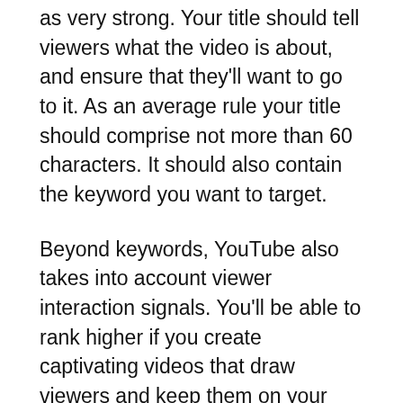as very strong. Your title should tell viewers what the video is about, and ensure that they'll want to go to it. As an average rule your title should comprise not more than 60 characters. It should also contain the keyword you want to target.
Beyond keywords, YouTube also takes into account viewer interaction signals. You'll be able to rank higher if you create captivating videos that draw viewers and keep them on your site. Encourage comments and encourage subscribers to your channel. Subscribers to your channel will view your videos more often and are more likely to comment and view them. It's that simple. You'll be amazed by how your video can climb the rankings if you try results...